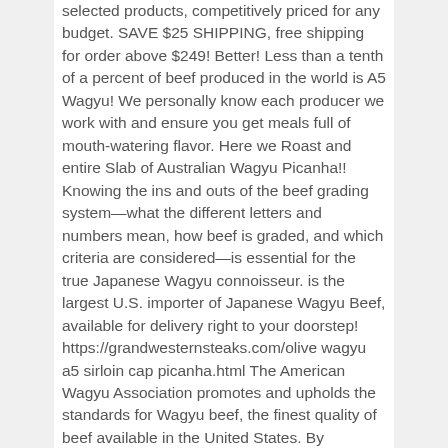selected products, competitively priced for any budget. SAVE $25 SHIPPING, free shipping for order above $249! Better! Less than a tenth of a percent of beef produced in the world is A5 Wagyu! We personally know each producer we work with and ensure you get meals full of mouth-watering flavor. Here we Roast and entire Slab of Australian Wagyu Picanha!! Knowing the ins and outs of the beef grading system—what the different letters and numbers mean, how beef is graded, and which criteria are considered—is essential for the true Japanese Wagyu connoisseur. is the largest U.S. importer of Japanese Wagyu Beef, available for delivery right to your doorstep! https://grandwesternsteaks.com/olive wagyu a5 sirloin cap picanha.html The American Wagyu Association promotes and upholds the standards for Wagyu beef, the finest quality of beef available in the United States. By continuing, you agree to our Japanese Beef Wagyu - approx. Purchase their meats and share their page. # Wagyu # Beef # BayArea # A5 # Picanha # ACMC # Steak #WagyuBeef # JapaneseWagyu # AustralianWagyu # Wags2Masses # AngryCowMasterCuts # Catering # CateringServices # SmokedWagyu # WagyuTastings # WagyuPicanha # foodiesofinstagram # foodie # foodies # wagyubeef #